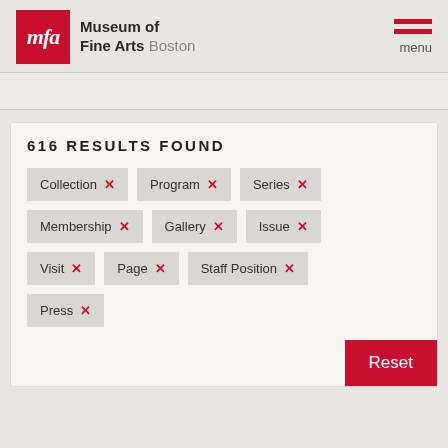Museum of Fine Arts Boston
616 RESULTS FOUND
Collection ×
Program ×
Series ×
Membership ×
Gallery ×
Issue ×
Visit ×
Page ×
Staff Position ×
Press ×
Reset